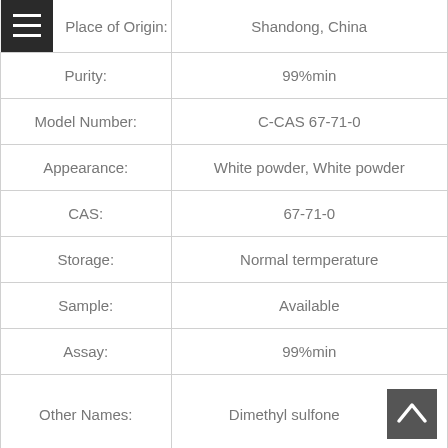| Property | Value |
| --- | --- |
| Place of Origin: | Shandong, China |
| Purity: | 99%min |
| Model Number: | C-CAS 67-71-0 |
| Appearance: | White powder, White powder |
| CAS: | 67-71-0 |
| Storage: | Normal termperature |
| Sample: | Available |
| Assay: | 99%min |
| Other Names: | Dimethyl sulfone |